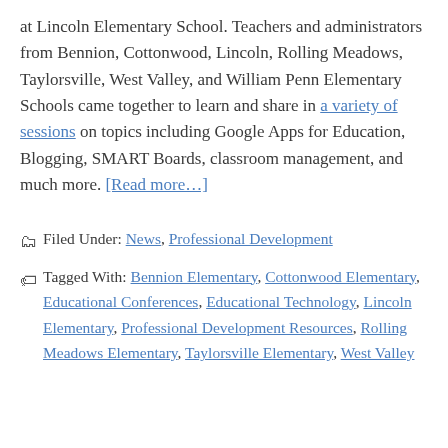at Lincoln Elementary School. Teachers and administrators from Bennion, Cottonwood, Lincoln, Rolling Meadows, Taylorsville, West Valley, and William Penn Elementary Schools came together to learn and share in a variety of sessions on topics including Google Apps for Education, Blogging, SMART Boards, classroom management, and much more. [Read more…]
Filed Under: News, Professional Development
Tagged With: Bennion Elementary, Cottonwood Elementary, Educational Conferences, Educational Technology, Lincoln Elementary, Professional Development Resources, Rolling Meadows Elementary, Taylorsville Elementary, West Valley